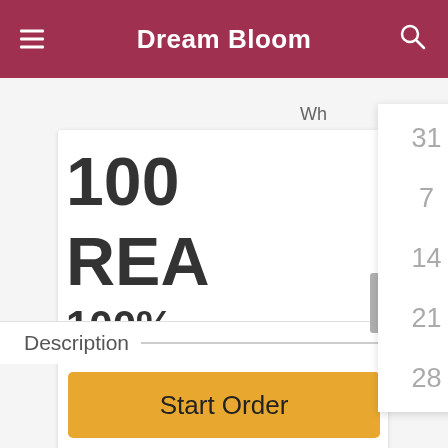Dream Bloom
[Figure (screenshot): Calendar date picker overlay showing a monthly calendar grid with dates 31, 1-6 in first row; 7-13 in second row; 14-20 in third row; 21-27 in fourth row; 28-31, 1-3 in fifth row. Dates shown in light gray.]
100%
REA
100% AND HAND DELIVERED
Description
Start Order